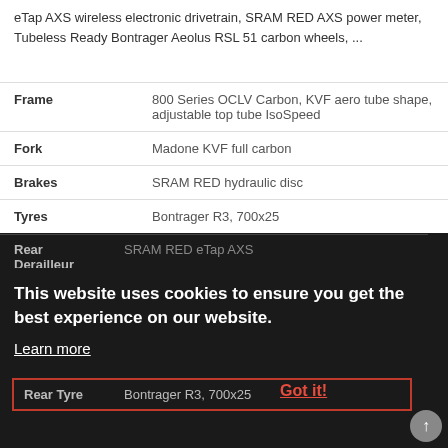eTap AXS wireless electronic drivetrain, SRAM RED AXS power meter, Tubeless Ready Bontrager Aeolus RSL 51 carbon wheels, ...
| Attribute | Value |
| --- | --- |
| Frame | 800 Series OCLV Carbon, KVF aero tube shape, adjustable top tube IsoSpeed |
| Fork | Madone KVF full carbon |
| Brakes | SRAM RED hydraulic disc |
| Tyres | Bontrager R3, 700x25 |
| Rear Derailleur | SRAM RED eTap AXS |
| Wheels | Bontrager Aeolus RSL 51 |
| Front Tyre | Bontrager R3, 700x25 |
| Rear Tyre | Bontrager R3, 700x25 |
This website uses cookies to ensure you get the best experience on our website.
Learn more
Got it!